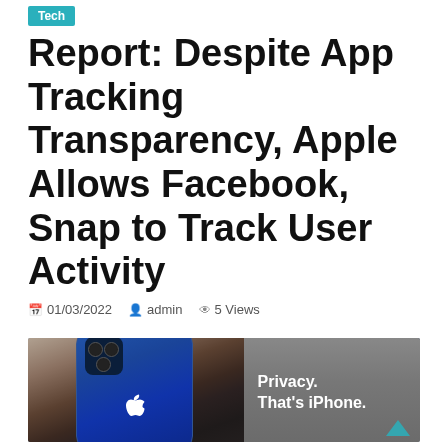Tech
Report: Despite App Tracking Transparency, Apple Allows Facebook, Snap to Track User Activity
01/03/2022  admin  5 Views
[Figure (photo): Person holding an iPhone 12 in blue showing back camera and Apple logo, with text overlay reading 'Privacy. That's iPhone.']